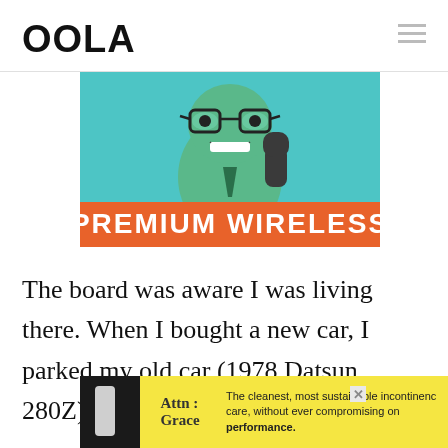OOLA
[Figure (illustration): Cartoon green character with glasses and open mouth raising a fist, with orange banner reading PREMIUM WIRELESS]
The board was aware I was living there. When I bought a new car, I parked my old car (1978 Datsun 280Z) in the ‘extra’ parking spaces,
[Figure (infographic): Bottom advertisement banner with yellow background, showing 'Attn: Grace' text and message: 'The cleanest, most sustainable incontinence care, without ever compromising on performance.']